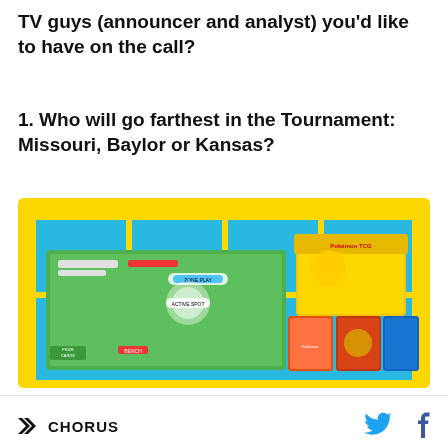TV guys (announcer and analyst) you'd like to have on the call?
1. Who will go farthest in the Tournament: Missouri, Baylor or Kansas?
[Figure (photo): Advertisement banner with yellow checkered border and blue background showing Pokemon Trading Card Game products including a game board/playmat and product boxes with Pokemon characters]
CHORUS